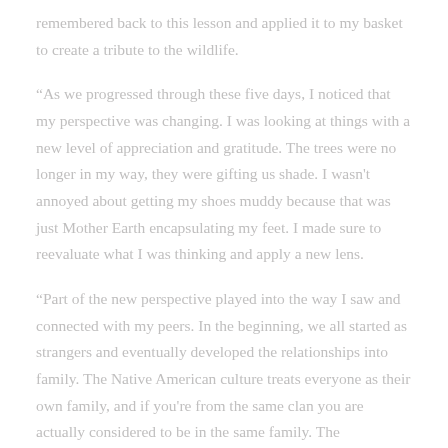remembered back to this lesson and applied it to my basket to create a tribute to the wildlife.
“As we progressed through these five days, I noticed that my perspective was changing. I was looking at things with a new level of appreciation and gratitude. The trees were no longer in my way, they were gifting us shade. I wasn't annoyed about getting my shoes muddy because that was just Mother Earth encapsulating my feet. I made sure to reevaluate what I was thinking and apply a new lens.
“Part of the new perspective played into the way I saw and connected with my peers. In the beginning, we all started as strangers and eventually developed the relationships into family. The Native American culture treats everyone as their own family, and if you're from the same clan you are actually considered to be in the same family. The friendships with these people grew at an exponential rate after the exposure of such an inclusive